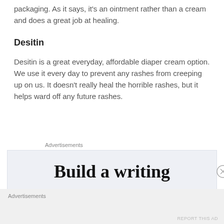packaging. As it says, it's an ointment rather than a cream and does a great job at healing.
Desitin
Desitin is a great everyday, affordable diaper cream option. We use it every day to prevent any rashes from creeping up on us. It doesn't really heal the horrible rashes, but it helps ward off any future rashes.
Advertisements
[Figure (other): Advertisement box containing text 'Build a writing' with a close button (X circle icon) on the right side]
Advertisements
REPORT THIS AD